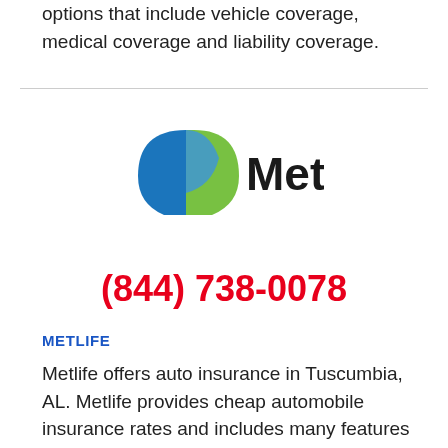options that include vehicle coverage, medical coverage and liability coverage.
[Figure (logo): MetLife logo with blue and green stylized M shape followed by bold black text 'MetLife']
(844) 738-0078
METLIFE
Metlife offers auto insurance in Tuscumbia, AL. Metlife provides cheap automobile insurance rates and includes many features and discounts that include, and driving